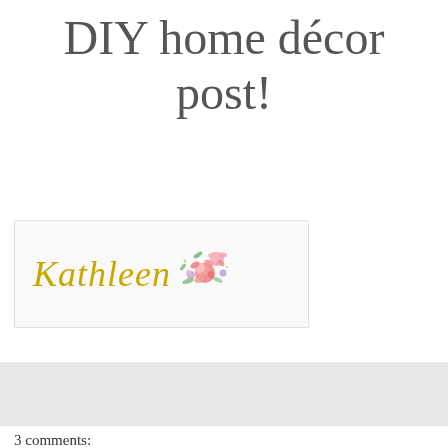DIY home décor post!
[Figure (logo): Signature logo reading 'Kathleen' in gold cursive script with decorative pink and purple floral illustration to the right]
[Figure (other): Gray horizontal bar, appears to be a placeholder or comment section background]
3 comments: